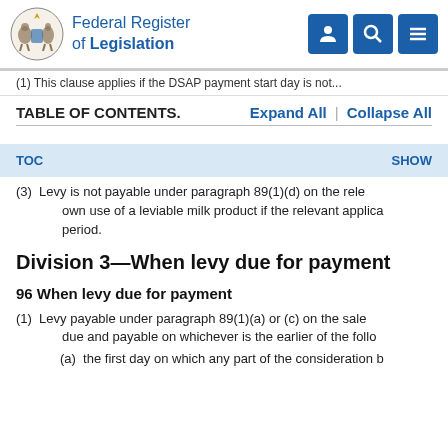Federal Register of Legislation
(1)  This clause applies if the DSAP payment start day is not...
TABLE OF CONTENTS.    Expand All   |   Collapse All
TOC    SHOW
(3)  Levy is not payable under paragraph 89(1)(d) on the relevant... own use of a leviable milk product if the relevant applica... period.
Division 3—When levy due for payment
96  When levy due for payment
(1)  Levy payable under paragraph 89(1)(a) or (c) on the sale... due and payable on whichever is the earlier of the follow...
(a)  the first day on which any part of the consideration b...